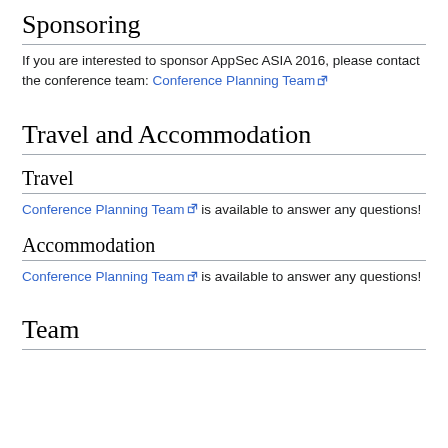Sponsoring
If you are interested to sponsor AppSec ASIA 2016, please contact the conference team: Conference Planning Team
Travel and Accommodation
Travel
Conference Planning Team is available to answer any questions!
Accommodation
Conference Planning Team is available to answer any questions!
Team